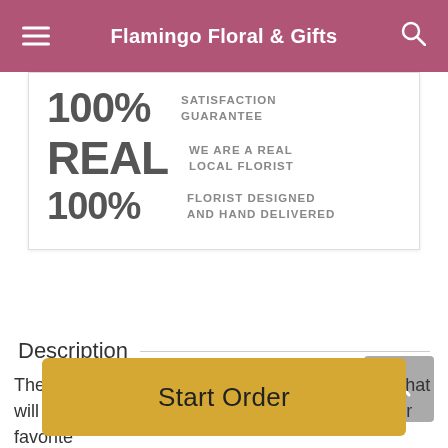Flamingo Floral & Gifts
100% SATISFACTION GUARANTEE
REAL WE ARE A REAL LOCAL FLORIST
100% FLORIST DESIGNED AND HAND DELIVERED
Description
There is just something about these sweet hues that will leave a lasting impression on its recipient. Our favorite
Start Order